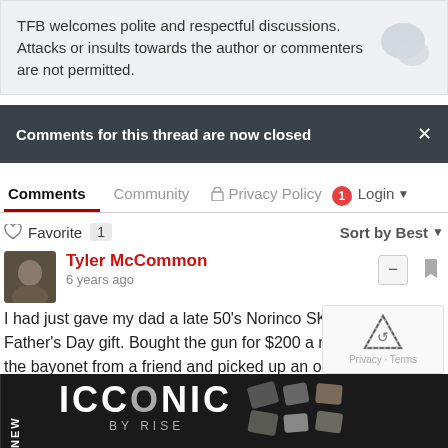TFB welcomes polite and respectful discussions. Attacks or insults towards the author or commenters are not permitted.
Comments for this thread are now closed
Comments  Community  Privacy Policy  1  Login
Favorite 1   Sort by Best
Tyler McCommon
6 years ago
I had just gave my dad a late 50's Norinco SKS as an early Father's Day gift. Bought the gun for $200 a month ago. Got the bayonet from a friend and picked up an original 10 rd mag for $15 at a junk sale. All in all it was a great buy. The gun itself shoots OK. It's no tack driver but for a short range hunti or just w
1